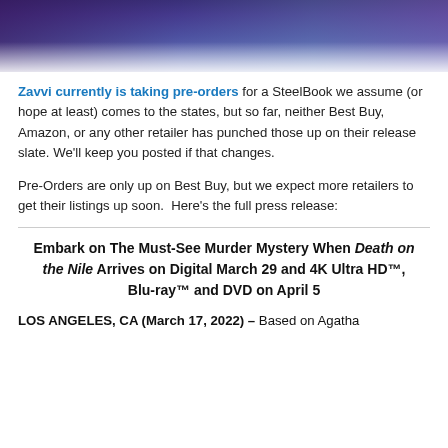[Figure (photo): Cropped top portion of a movie promotional image with purple and blue tones showing figures in formal attire]
Zavvi currently is taking pre-orders for a SteelBook we assume (or hope at least) comes to the states, but so far, neither Best Buy, Amazon, or any other retailer has punched those up on their release slate. We'll keep you posted if that changes.
Pre-Orders are only up on Best Buy, but we expect more retailers to get their listings up soon.  Here's the full press release:
Embark on The Must-See Murder Mystery When Death on the Nile Arrives on Digital March 29 and 4K Ultra HD™, Blu-ray™ and DVD on April 5
LOS ANGELES, CA (March 17, 2022) – Based on Agatha